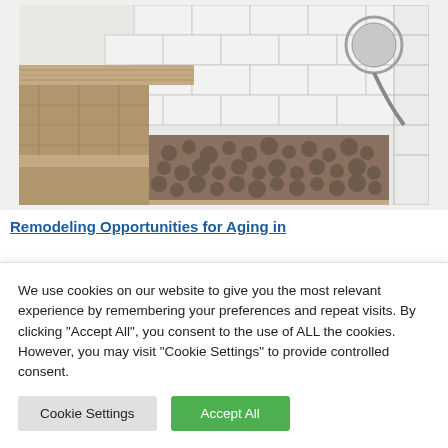[Figure (photo): Photograph of a walk-in shower with a tiled bench on the left using wood-look porcelain tile, a pebble/mosaic tile floor in the center, white subway tiles on the walls, and a circular shower head visible in the upper right corner.]
Remodeling Opportunities for Aging in
We use cookies on our website to give you the most relevant experience by remembering your preferences and repeat visits. By clicking "Accept All", you consent to the use of ALL the cookies. However, you may visit "Cookie Settings" to provide controlled consent.